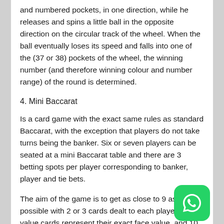and numbered pockets, in one direction, while he releases and spins a little ball in the opposite direction on the circular track of the wheel. When the ball eventually loses its speed and falls into one of the (37 or 38) pockets of the wheel, the winning number (and therefore winning colour and number range) of the round is determined.
4. Mini Baccarat
Is a card game with the exact same rules as standard Baccarat, with the exception that players do not take turns being the banker. Six or seven players can be seated at a mini Baccarat table and there are 3 betting spots per player corresponding to banker, player and tie bets.
The aim of the game is to get as close to 9 as possible with 2 or 3 cards dealt to each player. 2-9 value cards represent their exact face value, and 10 and face cards value 0. The score of the hand is the right digit of the total of the cards. For example, if the two cards are an 8 and 7 which totals 15 the value of the hand is 5.